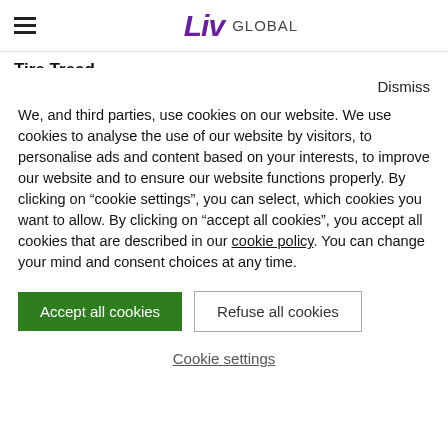Liv GLOBAL
Tire Tread
Dismiss
We, and third parties, use cookies on our website. We use cookies to analyse the use of our website by visitors, to personalise ads and content based on your interests, to improve our website and to ensure our website functions properly. By clicking on “cookie settings”, you can select, which cookies you want to allow. By clicking on “accept all cookies”, you accept all cookies that are described in our cookie policy. You can change your mind and consent choices at any time.
Accept all cookies
Refuse all cookies
Cookie settings